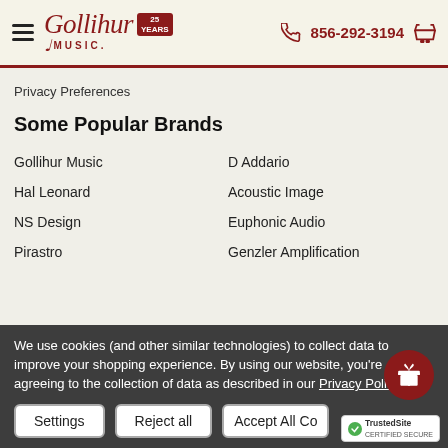Gollihur Music | 856-292-3194
Privacy Preferences
Some Popular Brands
Gollihur Music
D Addario
Hal Leonard
Acoustic Image
NS Design
Euphonic Audio
Pirastro
Genzler Amplification
We use cookies (and other similar technologies) to collect data to improve your shopping experience. By using our website, you're agreeing to the collection of data as described in our Privacy Policy.